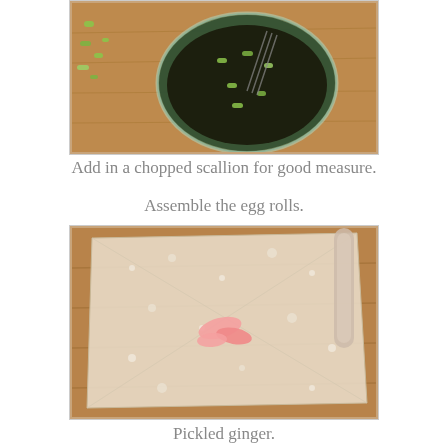[Figure (photo): Top-down view of a glass bowl containing a dark sauce with chopped scallions on a wooden cutting board, with more chopped green scallions scattered around.]
Add in a chopped scallion for good measure.
Assemble the egg rolls.
[Figure (photo): An egg roll wrapper laid flat on a wooden surface with a small piece of pickled ginger placed in the center, and a rolling pin visible at the top right.]
Pickled ginger.